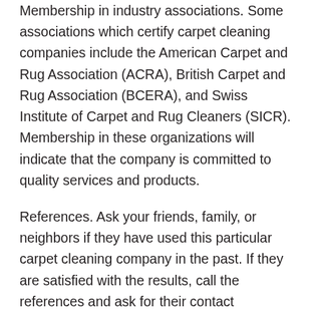Membership in industry associations. Some associations which certify carpet cleaning companies include the American Carpet and Rug Association (ACRA), British Carpet and Rug Association (BCERA), and Swiss Institute of Carpet and Rug Cleaners (SICR). Membership in these organizations will indicate that the company is committed to quality services and products.
References. Ask your friends, family, or neighbors if they have used this particular carpet cleaning company in the past. If they are satisfied with the results, call the references and ask for their contact information. This will give you a better idea of whether or not this company is good for you.
Pricing. Before hiring a carpet cleaning...